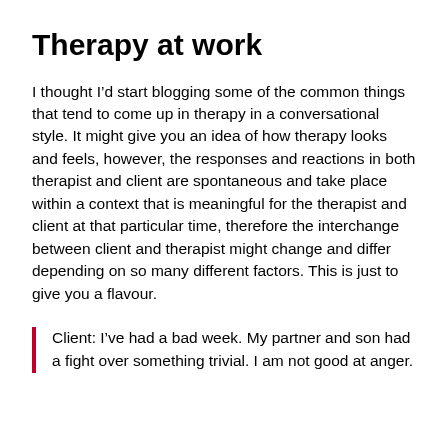Therapy at work
I thought I’d start blogging some of the common things that tend to come up in therapy in a conversational style. It might give you an idea of how therapy looks and feels, however, the responses and reactions in both therapist and client are spontaneous and take place within a context that is meaningful for the therapist and client at that particular time, therefore the interchange between client and therapist might change and differ depending on so many different factors. This is just to give you a flavour.
Client: I’ve had a bad week. My partner and son had a fight over something trivial. I am not good at anger.